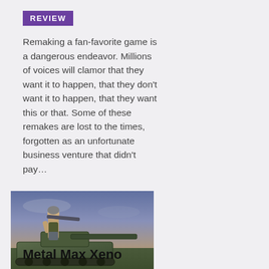REVIEW
Remaking a fan-favorite game is a dangerous endeavor. Millions of voices will clamor that they want it to happen, that they don't want it to happen, that they want this or that. Some of these remakes are lost to the times, forgotten as an unfortunate business venture that didn't pay...
[Figure (illustration): Screenshot or artwork from Metal Max Xeno showing a female character holding a weapon while standing on or near a military tank, with a twilight sky background.]
Metal Max Xeno Review